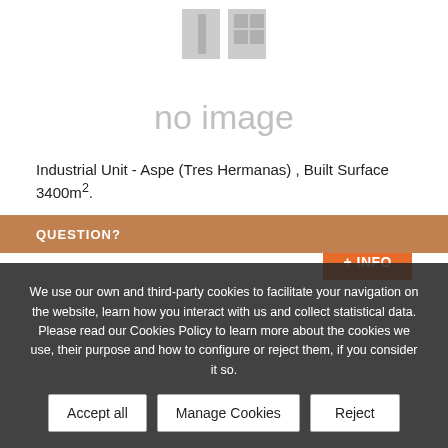[Figure (illustration): No image placeholder icon showing a grey image icon with a window/grid symbol]
no image
Industrial Unit - Aspe (Tres Hermanas) , Built Surface 3400m².
We use our own and third-party cookies to facilitate your navigation on the website, learn how you interact with us and collect statistical data. Please read our Cookies Policy to learn more about the cookies we use, their purpose and how to configure or reject them, if you consider it so.
QUESTION?